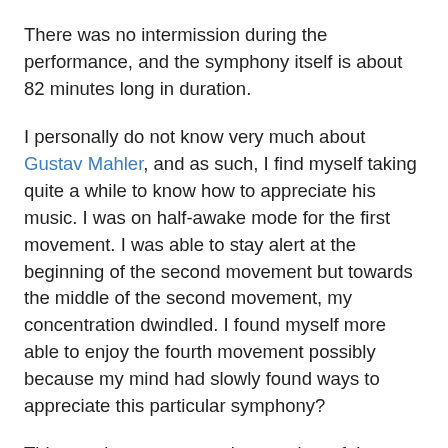There was no intermission during the performance, and the symphony itself is about 82 minutes long in duration.
I personally do not know very much about Gustav Mahler, and as such, I find myself taking quite a while to know how to appreciate his music. I was on half-awake mode for the first movement. I was able to stay alert at the beginning of the second movement but towards the middle of the second movement, my concentration dwindled. I found myself more able to enjoy the fourth movement possibly because my mind had slowly found ways to appreciate this particular symphony?
This post is not meant to be a review of the concert, it simply is meant to serve as a documentation of my experience. Perhaps I needed more work to heighten my ability to appreciate music? Perhaps I should have listened to the recordings of Mahler's Symphony No. 6 prior to attending the concert. Maybe that might help?
It was untimely that I attended the concert after a long day of